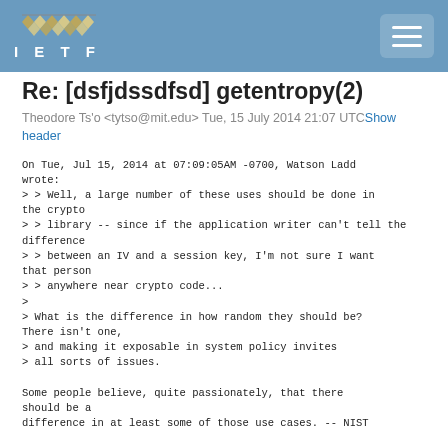IETF
Re: [dsfjdssdfsd] getentropy(2)
Theodore Ts'o <tytso@mit.edu> Tue, 15 July 2014 21:07 UTCShow header
On Tue, Jul 15, 2014 at 07:09:05AM -0700, Watson Ladd
wrote:
> > Well, a large number of these uses should be done in the crypto
> > library -- since if the application writer can't tell the difference
> > between an IV and a session key, I'm not sure I want that person
> > anywhere near crypto code...
>
> What is the difference in how random they should be? There isn't one,
> and making it exposable in system policy invites
> all sorts of issues.

Some people believe, quite passionately, that there should be a
difference in at least some of those use cases. -- NIST